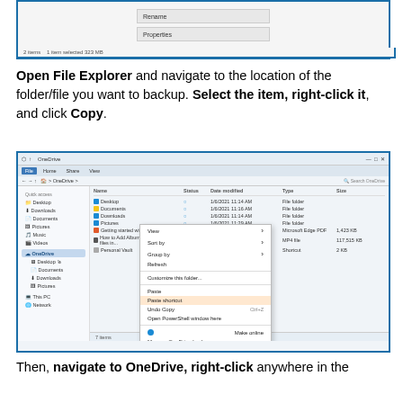[Figure (screenshot): File Explorer context menu showing Rename and Properties options, with status bar showing '2 items  1 item selected 323 MB']
Open File Explorer and navigate to the location of the folder/file you want to backup. Select the item, right-click it, and click Copy.
[Figure (screenshot): File Explorer window showing OneDrive folder contents with a right-click context menu open, showing options including View, Sort by, Group by, Refresh, Customize this folder, Paste, Paste shortcut, Undo Copy with Ctrl+Z, Open PowerShell window here, Make online, Manage OneDrive backup, Settings, Always keep on this device, Free up space, Give access to, New, Properties. The context menu has 'Paste shortcut' highlighted in orange.]
Then, navigate to OneDrive, right-click anywhere in the